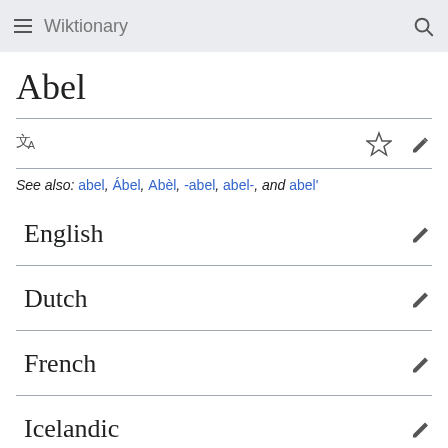Wiktionary
Abel
See also: abel, Ábel, Abèl, -abel, abel-, and abel'
English
Dutch
French
Icelandic